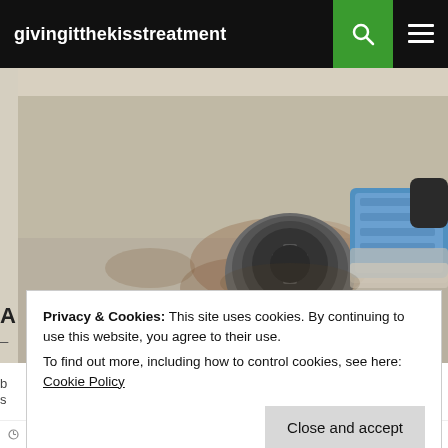givingitthekisstreatment
[Figure (photo): A stained white kitchen or bathroom sink with a dark drain strainer, brown rust/stain marks around the drain, white powder or baking soda in the basin, and a blue sponge on the right side.]
Privacy & Cookies: This site uses cookies. By continuing to use this website, you agree to their use.
To find out more, including how to control cookies, see here: Cookie Policy
Close and accept
MARCH 24, 2014   GIVING IT THE KISS TREATMENT   LEAVE A